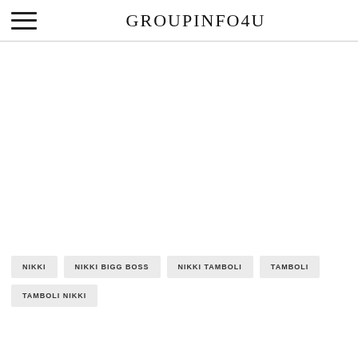GROUPINFO4U
NIKKI
NIKKI BIGG BOSS
NIKKI TAMBOLI
TAMBOLI
TAMBOLI NIKKI